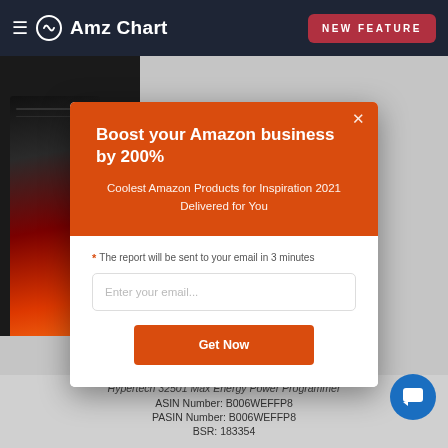AmzChart — NEW FEATURE
[Figure (screenshot): AmzChart web app screenshot with modal popup: Boost your Amazon business by 200%]
Boost your Amazon business by 200%
Coolest Amazon Products for Inspiration 2021 Delivered for You
* The report will be sent to your email in 3 minutes
Enter your email...
Get Now
Hypertech 32501 Max Energy Power Programmer
ASIN Number: B006WEFFP8
PASIN Number: B006WEFFP8
BSR: 183354